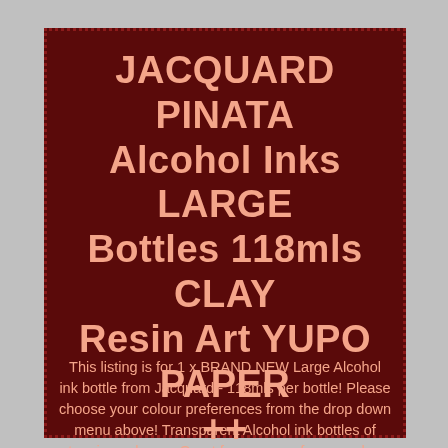JACQUARD PINATA Alcohol Inks LARGE Bottles 118mls CLAY Resin Art YUPO PAPER ++
This listing is for 1 x BRAND NEW Large Alcohol ink bottle from Jacquard - 118mls per bottle! Please choose your colour preferences from the drop down menu above! Transparent Alcohol ink bottles of stunning colours - Great for many surfaces such as glass, paper, yupo paper, clay, wood and